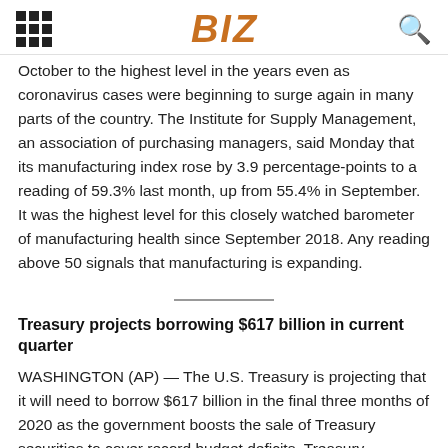BIZ
October to the highest level in the years even as coronavirus cases were beginning to surge again in many parts of the country. The Institute for Supply Management, an association of purchasing managers, said Monday that its manufacturing index rose by 3.9 percentage-points to a reading of 59.3% last month, up from 55.4% in September. It was the highest level for this closely watched barometer of manufacturing health since September 2018. Any reading above 50 signals that manufacturing is expanding.
Treasury projects borrowing $617 billion in current quarter
WASHINGTON (AP) — The U.S. Treasury is projecting that it will need to borrow $617 billion in the final three months of 2020 as the government boosts the sale of Treasury securities to cover record budget deficits. Treasury Department officials said Monday that the $617 billion in marketable borrowing for this quarter would be up